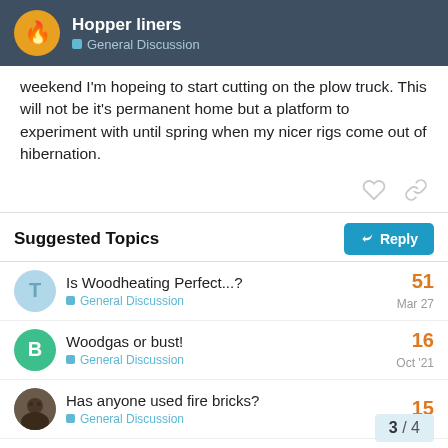Hopper liners — General Discussion
weekend I'm hopeing to start cutting on the plow truck. This will not be it's permanent home but a platform to experiment with until spring when my nicer rigs come out of hibernation.
Suggested Topics
Is Woodheating Perfect...? — General Discussion — 51 — Mar 27
Woodgas or bust! — General Discussion — 16 — Oct '21
Has anyone used fire bricks? — General Discussion — 15
3 / 4